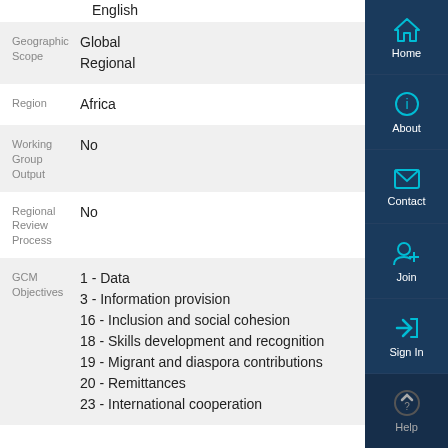English
| Field | Value |
| --- | --- |
| Geographic Scope | Global
Regional |
| Region | Africa |
| Working Group Output | No |
| Regional Review Process | No |
| GCM Objectives | 1 - Data
3 - Information provision
16 - Inclusion and social cohesion
18 - Skills development and recognition
19 - Migrant and diaspora contributions
20 - Remittances
23 - International cooperation |
[Figure (screenshot): Right sidebar navigation with Home, About, Contact, Join, Sign In, Help buttons with cyan icons on dark navy background]